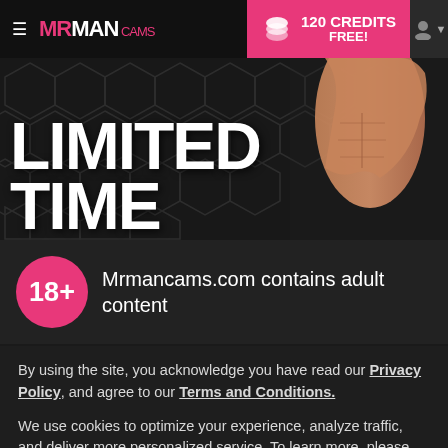≡ MRMANCAMS | 120 CREDITS FREE!
[Figure (screenshot): Hero banner with hexagonal dark background, muscular male torso on right side, large white bold text reading LIMITED TIME on the left]
18+  Mrmancams.com contains adult content
By using the site, you acknowledge you have read our Privacy Policy, and agree to our Terms and Conditions.
We use cookies to optimize your experience, analyze traffic, and deliver more personalized service. To learn more, please see our Privacy Policy.
I AGREE